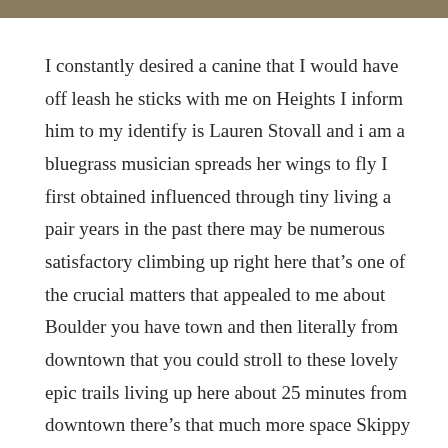[Figure (photo): Partial photo strip at the top of the page, showing an outdoor/nature scene in muted brown and tan tones.]
I constantly desired a canine that I would have off leash he sticks with me on Heights I inform him to my identify is Lauren Stovall and i am a bluegrass musician spreads her wings to fly I first obtained influenced through tiny living a pair years in the past there may be numerous satisfactory climbing up right here that’s one of the crucial matters that appealed to me about Boulder you have town and then literally from downtown that you could stroll to these lovely epic trails living up here about 25 minutes from downtown there’s that much more space Skippy is my full-time roommate my excellent buddy my little canine he’s a Jack Russell he’s a bit underneath 20 pounds relying on the day and how many treats he’s